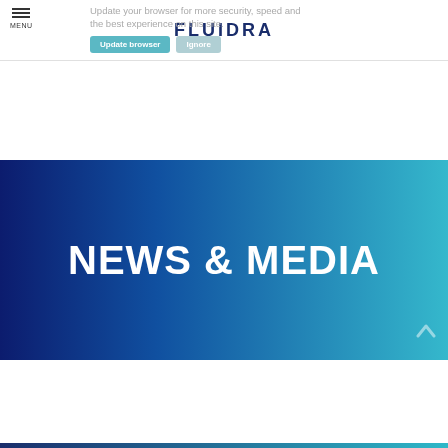MENU | FLUIDRA
Update your browser for more security, speed and the best experience on this site.
NEWS & MEDIA
[Figure (other): Bottom decorative blue gradient line at page bottom]